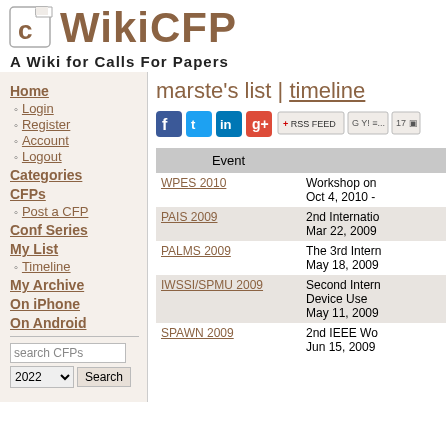WikiCFP — A Wiki for Calls For Papers
marste's list | timeline
Home
Login
Register
Account
Logout
Categories
CFPs
Post a CFP
Conf Series
My List
Timeline
My Archive
On iPhone
On Android
| Event |  |
| --- | --- |
| WPES 2010 | Workshop on
Oct 4, 2010 - |
| PAIS 2009 | 2nd Internatio
Mar 22, 2009 |
| PALMS 2009 | The 3rd Intern
May 18, 2009 |
| IWSSI/SPMU 2009 | Second Intern
Device Use
May 11, 2009 |
| SPAWN 2009 | 2nd IEEE Wo
Jun 15, 2009 |